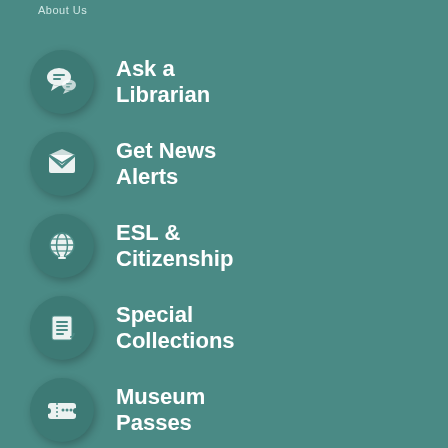About Us
Ask a Librarian
Get News Alerts
ESL & Citizenship
Special Collections
Museum Passes